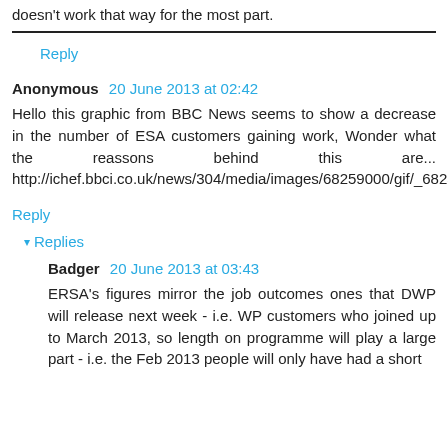doesn't work that way for the most part.
Reply
Anonymous 20 June 2013 at 02:42
Hello this graphic from BBC News seems to show a decrease in the number of ESA customers gaining work, Wonder what the reassons behind this are... http://ichef.bbci.co.uk/news/304/media/images/68259000/gif/_68259351_work_prog624x424.gif
Reply
▾ Replies
Badger 20 June 2013 at 03:43
ERSA's figures mirror the job outcomes ones that DWP will release next week - i.e. WP customers who joined up to March 2013, so length on programme will play a large part - i.e. the Feb 2013 people will only have had a short